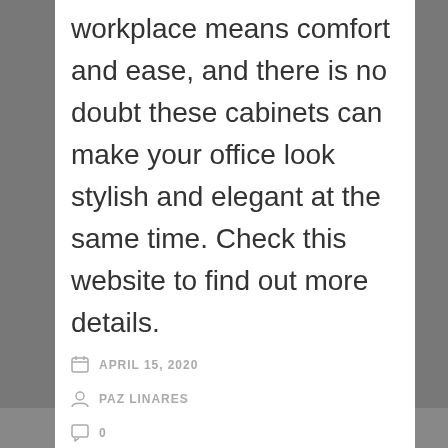workplace means comfort and ease, and there is no doubt these cabinets can make your office look stylish and elegant at the same time. Check this website to find out more details.
APRIL 15, 2020
PAZ LINARES
0